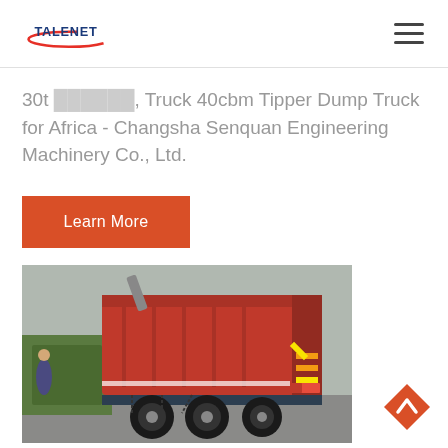TALENET
30t ... Truck 40cbm Tipper Dump Truck for Africa - Changsha Senquan Engineering Machinery Co., Ltd.
Learn More
[Figure (photo): Rear view of a red tipper dump truck parked in an outdoor lot, showing the hydraulic lift mechanism and rear bed. Other trucks visible in background.]
[Figure (other): Orange diamond-shaped back-to-top navigation button with upward chevron arrow]